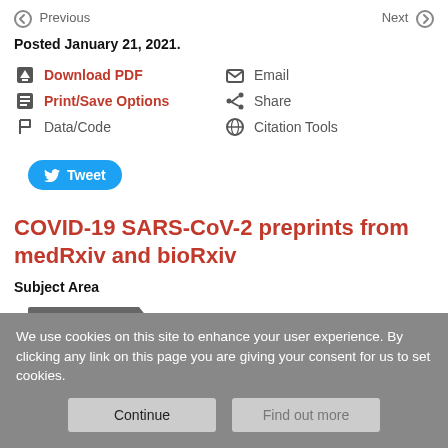Previous | Next
Posted January 21, 2021.
Download PDF
Email
Print/Save Options
Share
Data/Code
Citation Tools
Tweet
COVID-19 SARS-CoV-2 preprints from medRxiv and bioRxiv
Subject Area
Bioinformatics
We use cookies on this site to enhance your user experience. By clicking any link on this page you are giving your consent for us to set cookies.